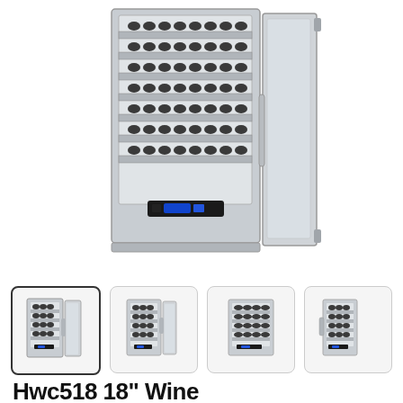[Figure (photo): Large main product image of a stainless steel wine cooler (Hwc518 18" Wine) with the glass door open, showing multiple shelves filled with wine bottles. The unit has a digital control panel with blue LED display at the bottom front.]
[Figure (photo): Thumbnail 1 (selected/active): Wine cooler with door open, front view - same unit as main image]
[Figure (photo): Thumbnail 2: Wine cooler with door open, slight angle view]
[Figure (photo): Thumbnail 3: Wine cooler front view, door closed or slightly open]
[Figure (photo): Thumbnail 4: Wine cooler front view, door open, angle view]
Hwc518 18" Wine